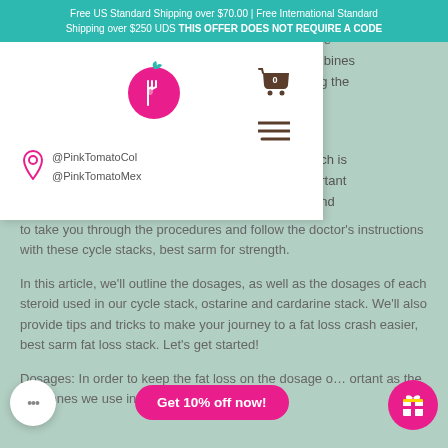Free US Standard Shipping over $70.00 | Free International Standard Shipping over $250 UDS THIS OFFER DOES NOT REQUIRE A CODE
[Figure (logo): Pink Tomato logo — pink tomato with leaf and fork illustration inside a circle]
@PinkTomatoCol
@PinkTomatoMex
...and follow the doctor's instructions with these cycle stacks, best sarm for strength.
In this article, we'll outline the dosages, as well as the dosages of each steroid used in our cycle stack, ostarine and cardarine stack. We'll also provide tips and tricks to make your journey to a fat loss crash easier, best sarm fat loss stack. Let's get started!
Dosages: In order to keep the fat loss on the dosage o... ortant as the hormones we use in the cycle to get to our
Get 10% off now!